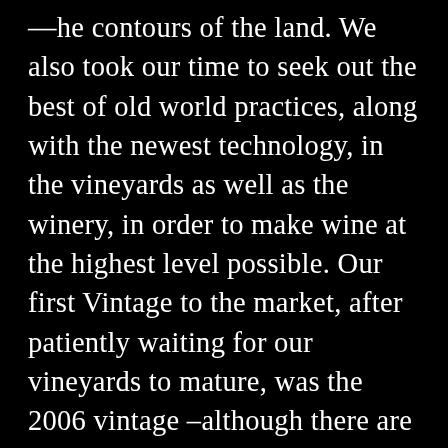the contours of the land. We also took our time to seek out the best of old world practices, along with the newest technology, in the vineyards as well as the winery, in order to make wine at the highest level possible. Our first Vintage to the market, after patiently waiting for our vineyards to mature, was the 2006 vintage –although there are rumors of early vintages bottled in shiners, buried somewhere deep in the cellar.

Our vineyards have been farmed